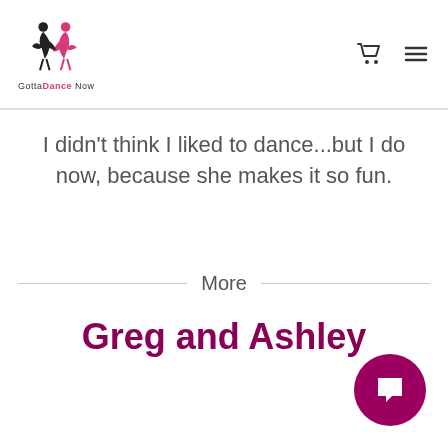GottaDance Now
I didn't think I liked to dance...but I do now, because she makes it so fun.
More
Greg and Ashley